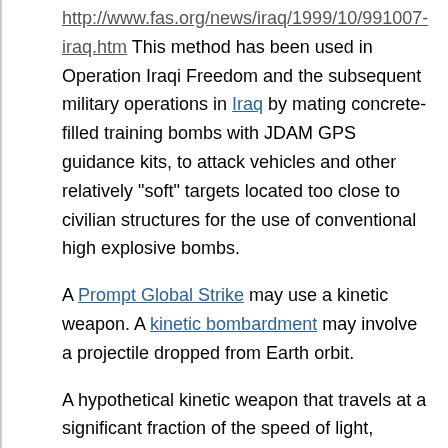http://www.fas.org/news/iraq/1999/10/991007-iraq.htm This method has been used in Operation Iraqi Freedom and the subsequent military operations in Iraq by mating concrete-filled training bombs with JDAM GPS guidance kits, to attack vehicles and other relatively "soft" targets located too close to civilian structures for the use of conventional high explosive bombs.
A Prompt Global Strike may use a kinetic weapon. A kinetic bombardment may involve a projectile dropped from Earth orbit.
A hypothetical kinetic weapon that travels at a significant fraction of the speed of light, usually found in science fiction, is termed a relativistic kill vehicle (RKV).